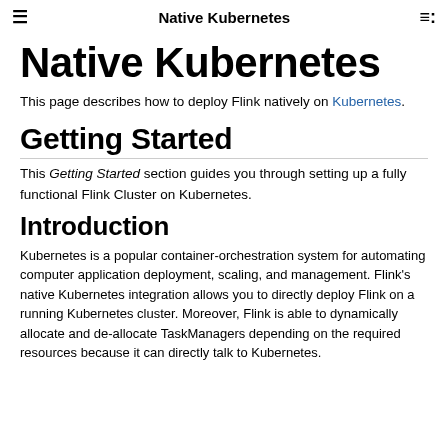Native Kubernetes
Native Kubernetes
This page describes how to deploy Flink natively on Kubernetes.
Getting Started
This Getting Started section guides you through setting up a fully functional Flink Cluster on Kubernetes.
Introduction
Kubernetes is a popular container-orchestration system for automating computer application deployment, scaling, and management. Flink's native Kubernetes integration allows you to directly deploy Flink on a running Kubernetes cluster. Moreover, Flink is able to dynamically allocate and de-allocate TaskManagers depending on the required resources because it can directly talk to Kubernetes.